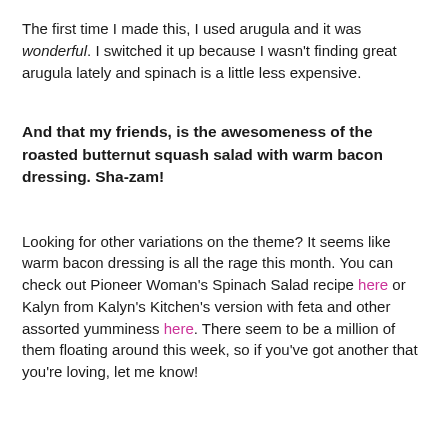The first time I made this, I used arugula and it was wonderful. I switched it up because I wasn't finding great arugula lately and spinach is a little less expensive.
And that my friends, is the awesomeness of the roasted butternut squash salad with warm bacon dressing. Sha-zam!
Looking for other variations on the theme? It seems like warm bacon dressing is all the rage this month. You can check out Pioneer Woman's Spinach Salad recipe here or Kalyn from Kalyn's Kitchen's version with feta and other assorted yumminess here. There seem to be a million of them floating around this week, so if you've got another that you're loving, let me know!